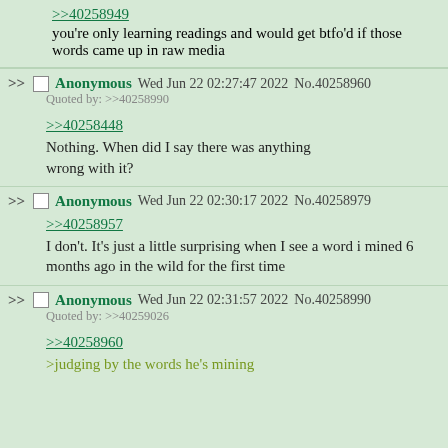>>40258949
you're only learning readings and would get btfo'd if those words came up in raw media
>> Anonymous Wed Jun 22 02:27:47 2022 No.40258960
Quoted by: >>40258990
>>40258448
Nothing. When did I say there was anything wrong with it?
>> Anonymous Wed Jun 22 02:30:17 2022 No.40258979
>>40258957
I don't. It's just a little surprising when I see a word i mined 6 months ago in the wild for the first time
>> Anonymous Wed Jun 22 02:31:57 2022 No.40258990
Quoted by: >>40259026
>>40258960
>judging by the words he's mining